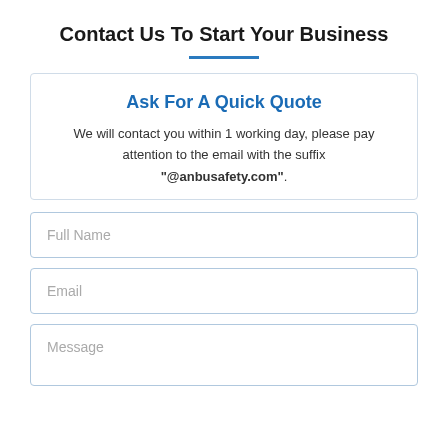Contact Us To Start Your Business
Ask For A Quick Quote
We will contact you within 1 working day, please pay attention to the email with the suffix "@anbusafety.com".
[Figure (other): Web contact form with fields: Full Name, Email, Message]